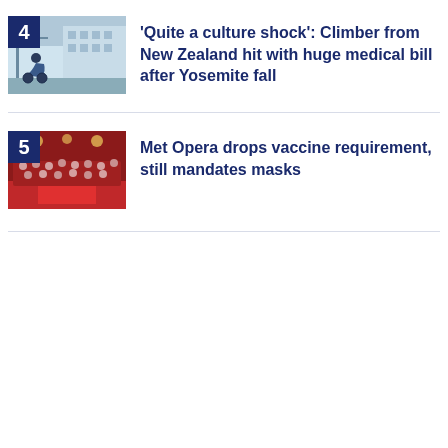[Figure (photo): Person in wheelchair near blue background, item #4 thumbnail]
'Quite a culture shock': Climber from New Zealand hit with huge medical bill after Yosemite fall
[Figure (photo): Crowd at Met Opera event on red carpet, item #5 thumbnail]
Met Opera drops vaccine requirement, still mandates masks